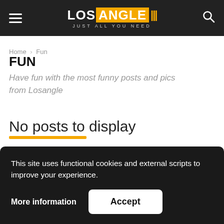[Figure (logo): LOS ANGLE site logo with orange background on ANGLE text and vertical bar separators, tagline JUST ALL YOU NEED]
Home › Fun
FUN
Have fun with the most funny posts and pics from Losangle
No posts to display
This site uses functional cookies and external scripts to improve your experience.
More information
Accept